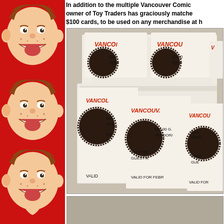[Figure (illustration): Left red column with three repeating Alfred E. Neuman cartoon faces sticking out tongue, on red background]
In addition to the multiple Vancouver Comic owner of Toy Traders has graciously matche $100 cards, to be used on any merchandise at h
[Figure (photo): Photo of multiple Vancouver Comic Con vendor gift certificates/cards with denominations of $20, $50, and $100, showing partial text including VANCOUVER, VENDOR, MUST BE GUEST AT, VALID FOR FEBR]